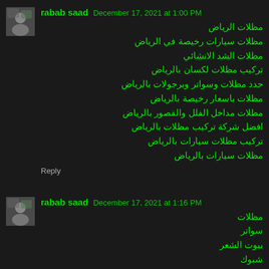[Figure (photo): Avatar image of user rabab saad]
rabab saad December 17, 2021 at 1:00 PM
مظلات الرياض
مظلات سيارات رخيصة في الرياض
مظلات الشد الانشائي
تركيب مظلات لكسان بالرياض
حدد مظلات وسواتر وبرجولات بالرياض
مظلات باسعار رخيصة بالرياض
مظلات مداخل الفلل والقصور بالرياض
افضل شركة تركيب مظلات بالرياض
تركيب مظلات سيارات بالرياض
مظلات سيارات بالرياض
Reply
[Figure (photo): Avatar image of user rabab saad]
rabab saad December 17, 2021 at 1:16 PM
مظلات
سواتر
بيوت الشعر
شبوك
هناجر ومستودعات